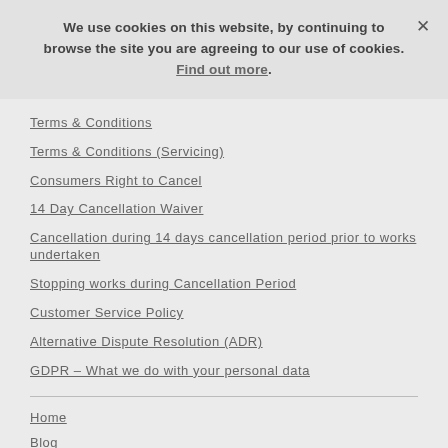We use cookies on this website, by continuing to browse the site you are agreeing to our use of cookies. Find out more.
Terms & Conditions
Terms & Conditions (Servicing)
Consumers Right to Cancel
14 Day Cancellation Waiver
Cancellation during 14 days cancellation period prior to works undertaken
Stopping works during Cancellation Period
Customer Service Policy
Alternative Dispute Resolution (ADR)
GDPR – What we do with your personal data
Home
Blog
Events
Case Studies & Testimonials
Contact
Privacy Policy
Sitemap